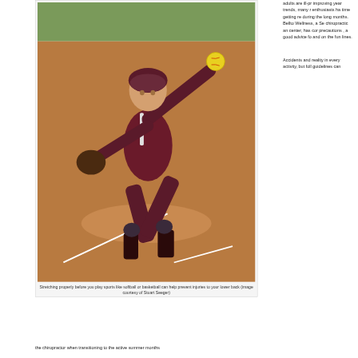[Figure (photo): A softball pitcher in a maroon uniform mid-windup, throwing a yellow softball on a dirt field]
Stretching properly before you play sports like softball or basketball can help prevent injuries to your lower back (image courtesy of Stuart Seeger)
adults are ill-pr improving year trends, many r enthusiasts ha time getting re during the long months. Bellto Wellness, a Se chiropractic an center, has cor precautions , a good advice fo and on the fun lines.
Accidents and reality in every activity, but foll guidelines can
the chiropractor when transitioning to the active summer months